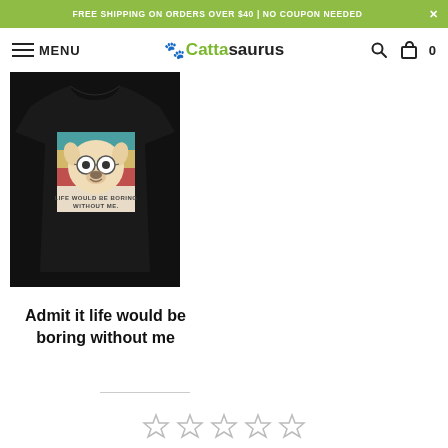FREE SHIPPING ON ORDERS OVER $40 | NO COUPON NEEDED ×
MENU  🐾Cattasaurus  🔍 🛍 0
[Figure (photo): A black t-shirt with a vintage-style illustration of a French Bulldog wearing glasses, with colorful retro stripes and text reading 'LIFE WOULD BE BORING WITHOUT ME']
Admit it life would be boring without me
[Figure (other): 5 empty star rating icons]